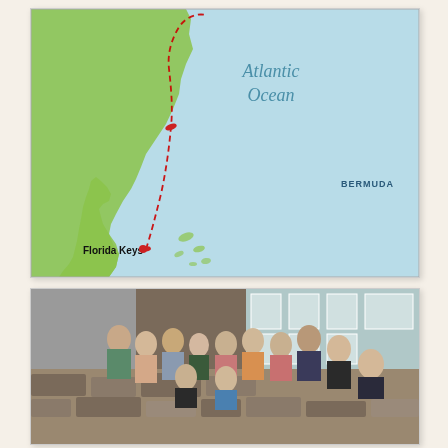[Figure (map): Map showing the Atlantic Ocean coast of North America with a dashed red route line from Florida Keys northward along the coast and out to the Atlantic, with Bermuda labeled to the right. Florida Keys is labeled with a red dot at the southern tip of Florida.]
[Figure (photo): Group photo of approximately 14 students posing on stone steps outside a building with shingle siding and large windows. Students are smiling and posing in various positions.]